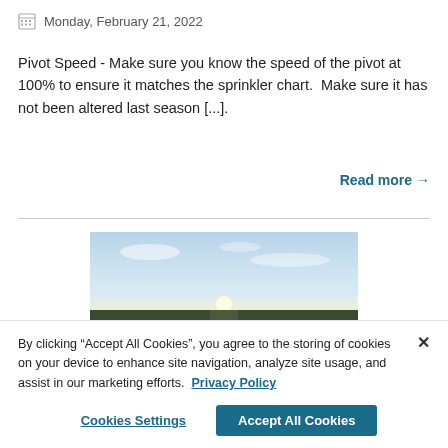Monday, February 21, 2022
Pivot Speed - Make sure you know the speed of the pivot at 100% to ensure it matches the sprinkler chart.  Make sure it has not been altered last season [...].
Read more →
[Figure (photo): Landscape photo of a flat field at dusk/dawn with a bright sun near the horizon and a pale blue sky with scattered clouds]
By clicking “Accept All Cookies”, you agree to the storing of cookies on your device to enhance site navigation, analyze site usage, and assist in our marketing efforts. Privacy Policy
Cookies Settings
Accept All Cookies